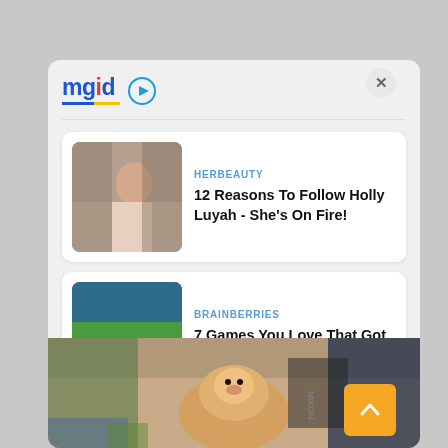[Figure (logo): MGID logo with play button icon]
HERBEAUTY
12 Reasons To Follow Holly Luyah - She's On Fire!
BRAINBERRIES
7 Games You Love That Got Bad Reviews
[Figure (photo): Photo of a corgi dog being petted by people]
[Figure (other): Back to top arrow button (orange)]